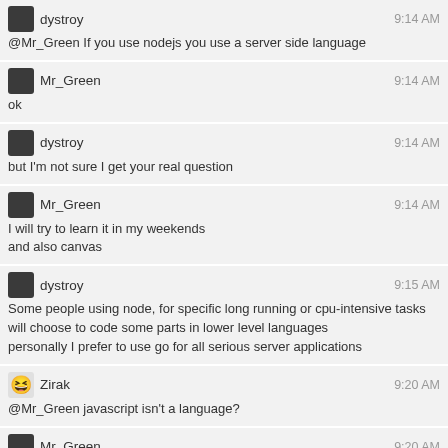dystroy 9:14 AM
@Mr_Green If you use nodejs you use a server side language
Mr_Green 9:14 AM
ok
dystroy 9:14 AM
but I'm not sure I get your real question
Mr_Green 9:14 AM
I will try to learn it in my weekends
and also canvas
dystroy 9:15 AM
Some people using node, for specific long running or cpu-intensive tasks will choose to code some parts in lower level languages
personally I prefer to use go for all serious server applications
Zirak 9:20 AM
@Mr_Green javascript isn't a language?
Mr_Green 9:20 AM
it is...
I suppose
programming language
Zirak 9:20 AM